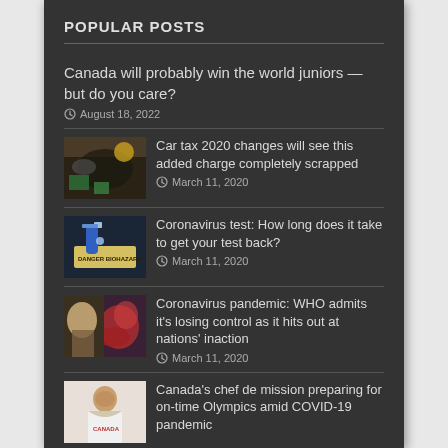POPULAR POSTS
Canada will probably win the world juniors — but do you care?
August 18, 2022
Car tax 2020 changes will see this added charge completely scrapped
March 11, 2020
Coronavirus test: How long does it take to get your test back?
March 11, 2020
Coronavirus pandemic: WHO admits it's losing control as it hits out at nations' inaction
March 11, 2020
Canada's chef de mission preparing for on-time Olympics amid COVID-19 pandemic